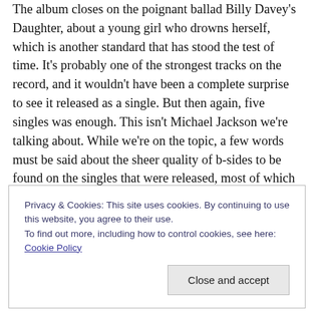The album closes on the poignant ballad Billy Davey's Daughter, about a young girl who drowns herself, which is another standard that has stood the test of time. It's probably one of the strongest tracks on the record, and it wouldn't have been a complete surprise to see it released as a single. But then again, five singles was enough. This isn't Michael Jackson we're talking about. While we're on the topic, a few words must be said about the sheer quality of b-sides to be found on the singles that were released, most of which have been included on various re-issues. Carrot Cake & Wine is strong enough to grace
Privacy & Cookies: This site uses cookies. By continuing to use this website, you agree to their use.
To find out more, including how to control cookies, see here: Cookie Policy